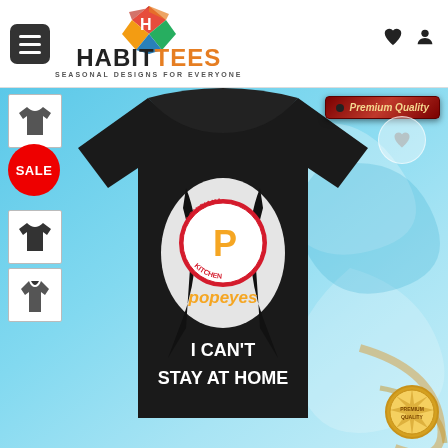[Figure (screenshot): HabitTees e-commerce website header with logo, hamburger menu, heart and profile icons]
[Figure (photo): Product listing page showing a black t-shirt with Popeyes Louisiana Kitchen logo ripping through the chest, text reading 'I CAN'T STAY AT HOME'. Includes thumbnails of sweatshirt styles, a red SALE badge, a Premium Quality badge, and a gold quality seal in the corner. Background is blue marble swirl pattern.]